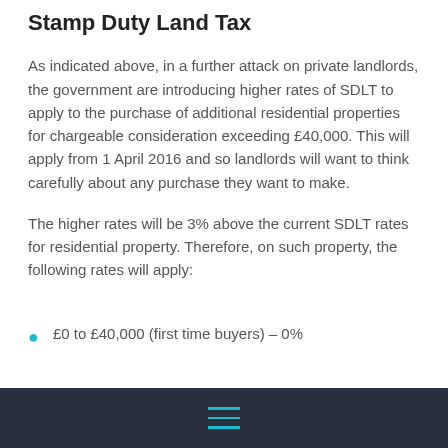Stamp Duty Land Tax
As indicated above, in a further attack on private landlords, the government are introducing higher rates of SDLT to apply to the purchase of additional residential properties for chargeable consideration exceeding £40,000. This will apply from 1 April 2016 and so landlords will want to think carefully about any purchase they want to make.
The higher rates will be 3% above the current SDLT rates for residential property. Therefore, on such property, the following rates will apply:
£0 to £40,000 (first time buyers) – 0%